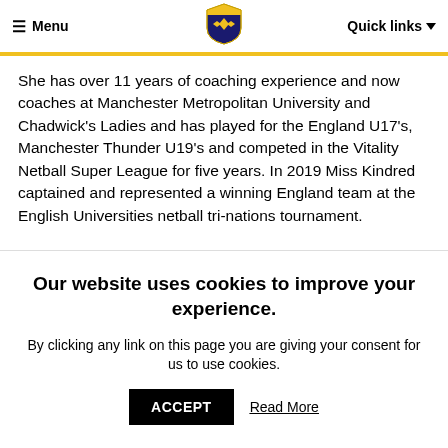Menu | [Shield Logo] | Quick links
She has over 11 years of coaching experience and now coaches at Manchester Metropolitan University and Chadwick's Ladies and has played for the England U17's, Manchester Thunder U19's and competed in the Vitality Netball Super League for five years. In 2019 Miss Kindred captained and represented a winning England team at the English Universities netball tri-nations tournament.
Mr Adam Longshaw, Head of
Our website uses cookies to improve your experience.
By clicking any link on this page you are giving your consent for us to use cookies.
ACCEPT
Read More